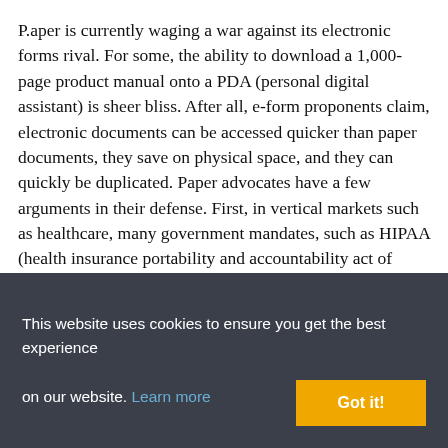P.aper is currently waging a war against its electronic forms rival. For some, the ability to download a 1,000-page product manual onto a PDA (personal digital assistant) is sheer bliss. After all, e-form proponents claim, electronic documents can be accessed quicker than paper documents, they save on physical space, and they can quickly be duplicated. Paper advocates have a few arguments in their defense. First, in vertical markets such as healthcare, many government mandates, such as HIPAA (health insurance portability and accountability act of 1996) do not accept electronic signatures. Second, reading information from a computer screen just isn't as clear as reading a piece of (radiation free) paper. Look at the trends happening in forms processing
This website uses cookies to ensure you get the best experience on our website. Learn more
Got it!